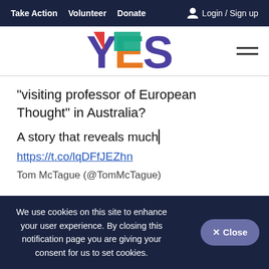Take Action  Volunteer  Donate  Login / Sign up
[Figure (logo): YES logo with colorful letters: Y in blue/red, E in orange/teal, S in purple. Website logo for YES campaign.]
“visiting professor of European Thought” in Australia?
A story that reveals much▏
https://t.co/lqDFfJEZhn
Tom McTague (@TomMcTague)
We use cookies on this site to enhance your user experience. By closing this notification page you are giving your consent for us to set cookies.